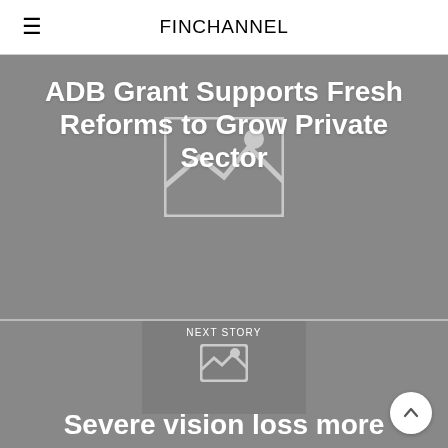FINCHANNEL
[Figure (photo): Gray placeholder image background for first story about ADB Grant]
ADB Grant Supports Fresh Reforms to Grow Private Sector
[Figure (photo): Gray placeholder image background for second story with NEXT STORY label and small image icon]
Severe vision loss more